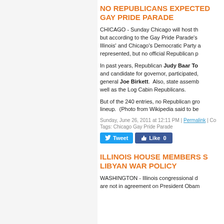NO REPUBLICANS EXPECTED GAY PRIDE PARADE
CHICAGO - Sunday Chicago will host th... but according to the Gay Pride Parade's... Illinois' and Chicago's Democratic Party ... represented, but no official Republican p...
In past years, Republican Judy Baar To... and candidate for governor, participated,... general Joe Birkett.  Also, state assemb... well as the Log Cabin Republicans.
But of the 240 entries, no Republican gro... lineup.  (Photo from Wikipedia said to be...
Sunday, June 26, 2011 at 12:11 PM | Permalink | Co...
Tags: Chicago Gay Pride Parade
ILLINOIS HOUSE MEMBERS S LIBYAN WAR POLICY
WASHINGTON - Illinois congressional d... are not in agreement on President Obam...